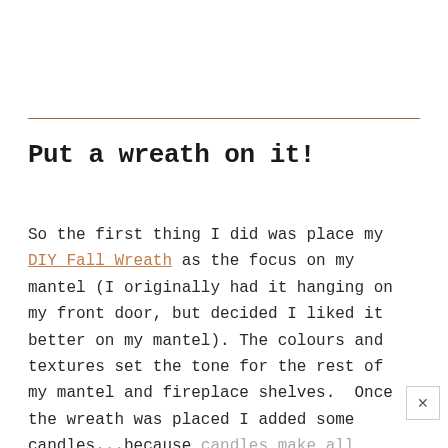Put a wreath on it!
So the first thing I did was place my DIY Fall Wreath as the focus on my mantel (I originally had it hanging on my front door, but decided I liked it better on my mantel). The colours and textures set the tone for the rest of my mantel and fireplace shelves.  Once the wreath was placed I added some candles...because candles make all seasons feel extra cozy...and I couldn't resist these orange ones that I found at